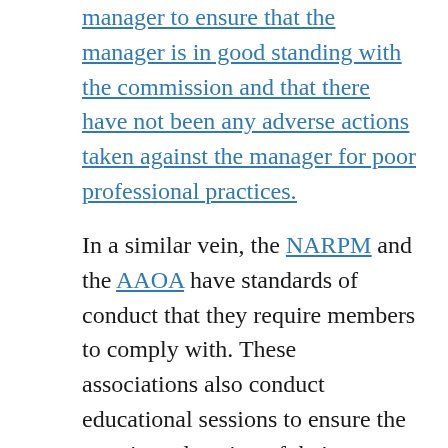manager to ensure that the manager is in good standing with the commission and that there have not been any adverse actions taken against the manager for poor professional practices.
In a similar vein, the NARPM and the AAOA have standards of conduct that they require members to comply with. These associations also conduct educational sessions to ensure the ongoing education of their members of the newest trends and changes in local and federal laws regarding the industry. You want your property manager to be up to date on local ordinance and federal law and to be interested in participating in ongoing education related to